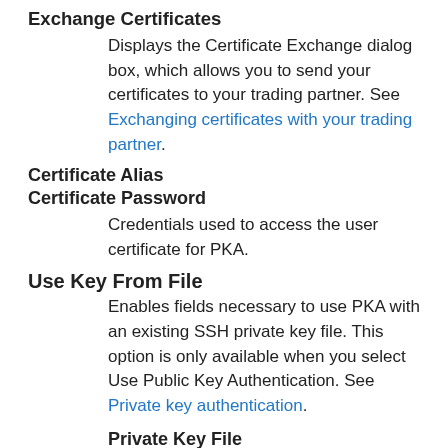Exchange Certificates
Displays the Certificate Exchange dialog box, which allows you to send your certificates to your trading partner. See Exchanging certificates with your trading partner.
Certificate Alias
Certificate Password
Credentials used to access the user certificate for PKA.
Use Key From File
Enables fields necessary to use PKA with an existing SSH private key file. This option is only available when you select Use Public Key Authentication. See Private key authentication.
Private Key File
Private Key Password